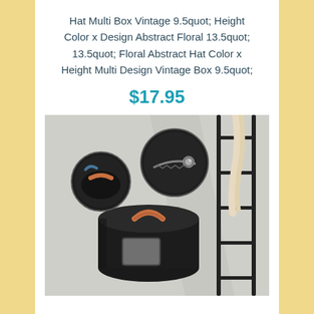Hat Multi Box Vintage 9.5quot; Height Color x Design Abstract Floral 13.5quot; 13.5quot; Floral Abstract Hat Color x Height Multi Design Vintage Box 9.5quot;
$17.95
[Figure (photo): Product photo of a round black hat/storage box with an orange leather handle on top and a clear window on the side, with close-up inset circles showing the zipper detail and interior lining. A decorative ladder with hanging fabric is visible in the background.]